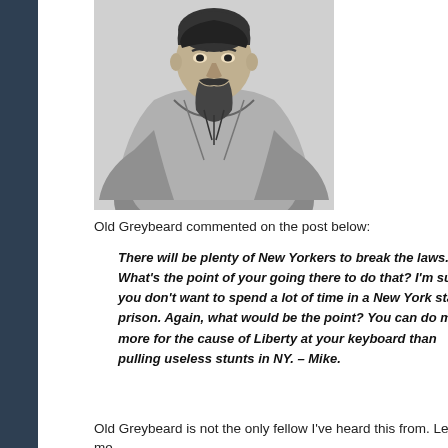[Figure (illustration): Black and white illustration of an ancient Chinese official or general in traditional robes, seated, with a beard and stern expression.]
Old Greybeard commented on the post below:
There will be plenty of New Yorkers to break the laws. What's the point of your going there to do that? I'm sure you don't want to spend a lot of time in a New York state prison. Again, what would be the point? You can do much more for the cause of Liberty at your keyboard than pulling useless stunts in NY. – Mike.
Old Greybeard is not the only fellow I've heard this from. Let me